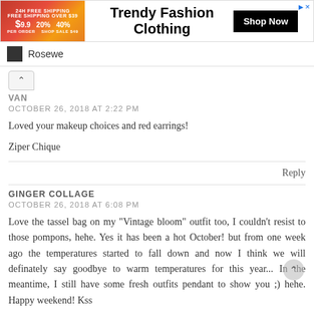[Figure (infographic): Advertisement banner for Rosewe Trendy Fashion Clothing with discount offers and Shop Now button]
Rosewe
VAN
OCTOBER 26, 2018 AT 2:22 PM

Loved your makeup choices and red earrings!

Ziper Chique
Reply
GINGER COLLAGE
OCTOBER 26, 2018 AT 6:08 PM

Love the tassel bag on my "Vintage bloom" outfit too, I couldn't resist to those pompons, hehe. Yes it has been a hot October! but from one week ago the temperatures started to fall down and now I think we will definately say goodbye to warm temperatures for this year... In the meantime, I still have some fresh outfits pendant to show you ;) hehe. Happy weekend! Kss